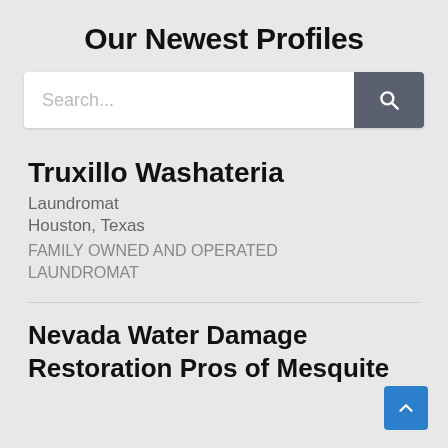Our Newest Profiles
[Figure (other): Search input field with placeholder text 'Search...' and a dark gray search button with magnifying glass icon]
Truxillo Washateria
Laundromat
Houston, Texas
FAMILY OWNED AND OPERATED LAUNDROMAT
Nevada Water Damage Restoration Pros of Mesquite